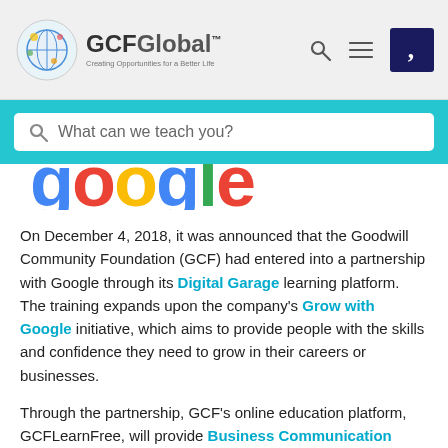GCFGlobal — Creating Opportunities for a Better Life
What can we teach you?
[Figure (logo): Partial Google logo letters cropped at top]
On December 4, 2018, it was announced that the Goodwill Community Foundation (GCF) had entered into a partnership with Google through its Digital Garage learning platform. The training expands upon the company's Grow with Google initiative, which aims to provide people with the skills and confidence they need to grow in their careers or businesses.
Through the partnership, GCF's online education platform, GCFLearnFree, will provide Business Communication tutorials to help an estimated 1 million Europeans find a job or grow their business by